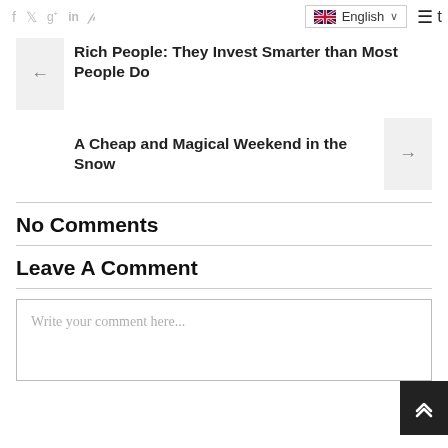f  Twitter  g+  in  p  English  ≡  t
Rich People: They Invest Smarter than Most People Do
A Cheap and Magical Weekend in the Snow
No Comments
Leave A Comment
Write your comment here...